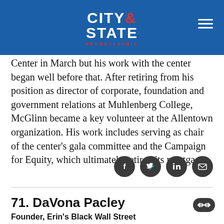City & State Pennsylvania
Center in March but his work with the center began well before that. After retiring from his position as director of corporate, foundation and government relations at Muhlenberg College, McGlinn became a key volunteer at the Allentown organization. His work includes serving as chair of the center’s gala committee and the Campaign for Equity, which ultimately retired its mortgage.
[Figure (other): Social media sharing icons: Facebook, Twitter, LinkedIn, Email]
71. DaVona Pacley
Founder, Erin's Black Wall Street